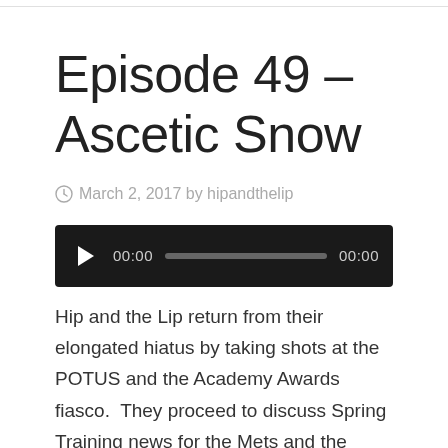Episode 49 – Ascetic Snow
March 2, 2017 by hipandthelip
[Figure (other): Audio player with play button, time display 00:00, progress bar, and end time 00:00 on dark background]
Hip and the Lip return from their elongated hiatus by taking shots at the POTUS and the Academy Awards fiasco.  They proceed to discuss Spring Training news for the Mets and the Yankees including the future of David…